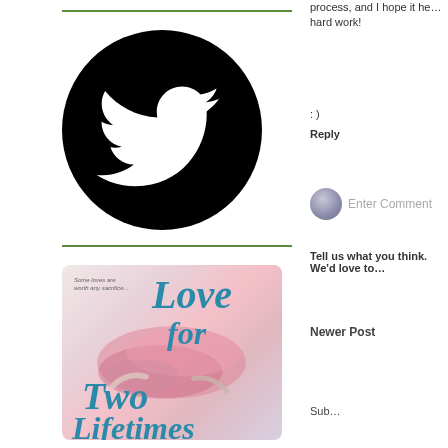[Figure (logo): Twitter bird logo in white on black circle]
[Figure (illustration): Book cover for 'Love for Two Lifetimes' with watercolor pink/purple splash and two hands reaching toward each other. Tagline: Some loves are worth any sacrifice...]
process, and I hope it he... hard work!
: )
Reply
Enter Comment
Tell us what you think. We'd love to...
Newer Post
Sub...